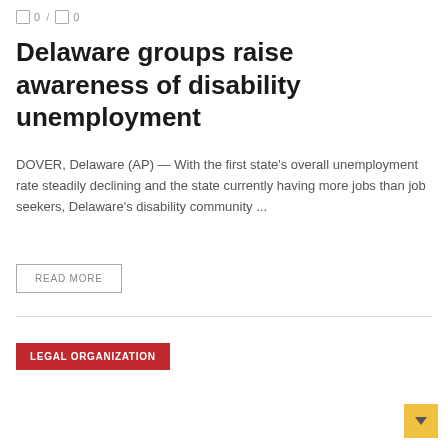0 / 0
Delaware groups raise awareness of disability unemployment
DOVER, Delaware (AP) — With the first state's overall unemployment rate steadily declining and the state currently having more jobs than job seekers, Delaware's disability community ...
READ MORE
LEGAL ORGANIZATION